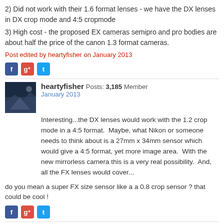2) Did not work with their 1.6 format lenses - we have the DX lenses in DX crop mode and 4:5 cropmode
3) High cost - the proposed EX cameras semipro and pro bodies are about half the price of the canon 1.3 format cameras.
Post edited by heartyfisher on January 2013
[Figure (other): Social sharing icons: Facebook, Google+, Twitter]
heartyfisher Posts: 3,185 Member
January 2013
Interesting...the DX lenses would work with the 1.2 crop mode in a 4:5 format.  Maybe, what Nikon or someone needs to think about is a 27mm x 34mm sensor which would give a 4:5 format, yet more image area.  With the new mirrorless camera this is a very real possibility.  And, all the FX lenses would cover...
do you mean a super FX size sensor like a a 0.8 crop sensor ? that could be cool !
[Figure (other): Social sharing icons: Facebook, Google+, Twitter]
heartyfisher Posts: 3,185 Member